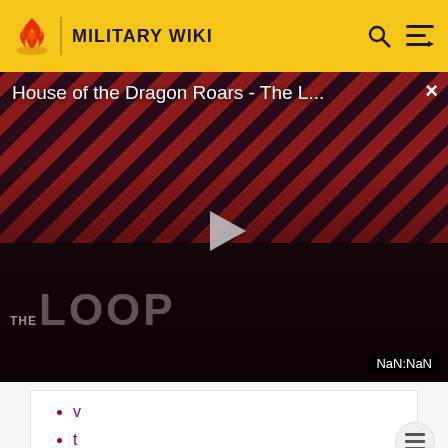MILITARY WIKI
[Figure (screenshot): Video player thumbnail showing 'House of the Dragon Roars - The L...' with play button, diagonal red and black stripes background, two people in background, 'THE LOOP' text overlay, and 'NaN:NaN' timestamp]
v
t
e
Weapons of mass destruction